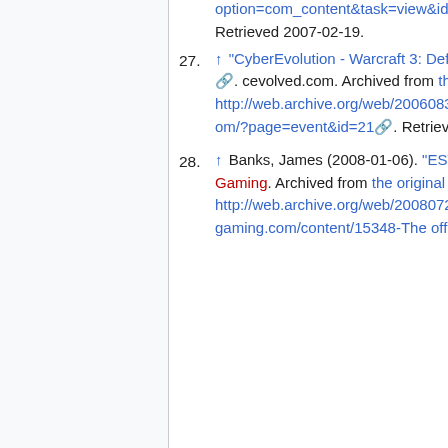option=com_content&task=view&id=1&Itemid=3. Retrieved 2007-02-19.
27. ↑ "CyberEvolution - Warcraft 3: Defense of the Ancients - Series 1". cevolved.com. Archived from the original on 2006-08-31. http://web.archive.org/web/20060831174502/http://www.cevolved.com/?page=event&id=21. Retrieved 2007-02-19.
28. ↑ Banks, James (2008-01-06). "ESWC Gamelist". SK Gaming. Archived from the original on 2008-07-25. http://web.archive.org/web/20080725175526/http://www.sk-gaming.com/content/15348-The official games for ESWC